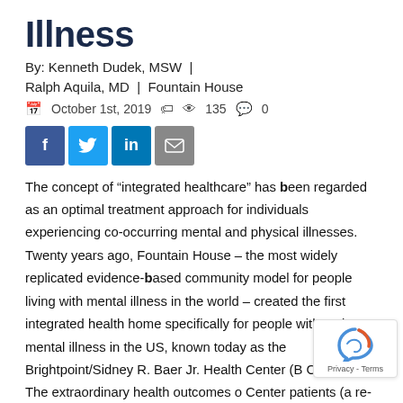Illness
By: Kenneth Dudek, MSW | Ralph Aquila, MD | Fountain House
October 1st, 2019   135   0
[Figure (other): Social sharing buttons: Facebook, Twitter, LinkedIn, Email]
The concept of “integrated healthcare” has been regarded as an optimal treatment approach for individuals experiencing co-occurring mental and physical illnesses. Twenty years ago, Fountain House – the most widely replicated evidence-based community model for people living with mental illness in the world – created the first integrated health home specifically for people with serious mental illness in the US, known today as the Brightpoint/Sidney R. Baer Jr. Health Center (B Center). The extraordinary health outcomes of Center patients (a re-hospitalization rate of 10%